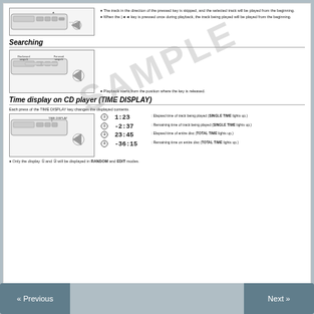[Figure (illustration): CD player device with hand pressing key, showing skip/track navigation]
The track in the direction of the pressed key is skipped, and the selected track will be played from the beginning.
When the |<< key is pressed once during playback, the track being played will be played from the beginning.
Searching
[Figure (illustration): CD player with labels: Backward search on left, Forward search on right, with hand gesture]
Playback starts from the position where the key is released.
Time display on CD player (TIME DISPLAY)
Each press of the TIME DISPLAY key changes the displayed contents.
[Figure (illustration): CD player device with TIME DISPLAY label and hand pressing button]
1 1:23 Elapsed time of track being played (SINGLE TIME lights up.) 2 -2:37 Remaining time of track being played (SINGLE TIME lights up.) 3 23:45 Elapsed time of entire disc (TOTAL TIME lights up.) 4 -36:15 Remaining time on entire disc (TOTAL TIME lights up.)
Only the display 1 and 2 will be displayed in RANDOM and EDIT modes.